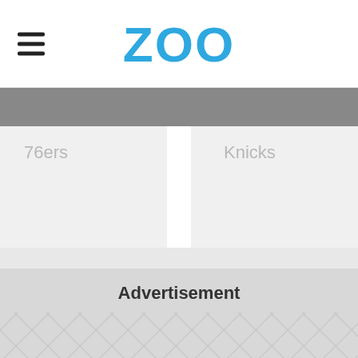ZOO
76ers
Knicks
Advertisement